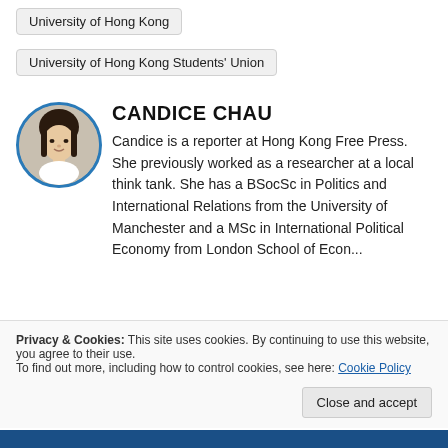University of Hong Kong
University of Hong Kong Students' Union
CANDICE CHAU
[Figure (photo): Circular portrait photo of Candice Chau with blue border]
Candice is a reporter at Hong Kong Free Press. She previously worked as a researcher at a local think tank. She has a BSocSc in Politics and International Relations from the University of Manchester and a MSc in International Political Economy from London School of Economics.
Privacy & Cookies: This site uses cookies. By continuing to use this website, you agree to their use.
To find out more, including how to control cookies, see here: Cookie Policy
Close and accept